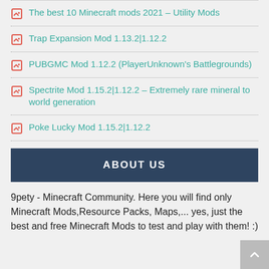The best 10 Minecraft mods 2021 – Utility Mods
Trap Expansion Mod 1.13.2|1.12.2
PUBGMC Mod 1.12.2 (PlayerUnknown's Battlegrounds)
Spectrite Mod 1.15.2|1.12.2 – Extremely rare mineral to world generation
Poke Lucky Mod 1.15.2|1.12.2
ABOUT US
9pety - Minecraft Community. Here you will find only Minecraft Mods,Resource Packs, Maps,... yes, just the best and free Minecraft Mods to test and play with them! :)